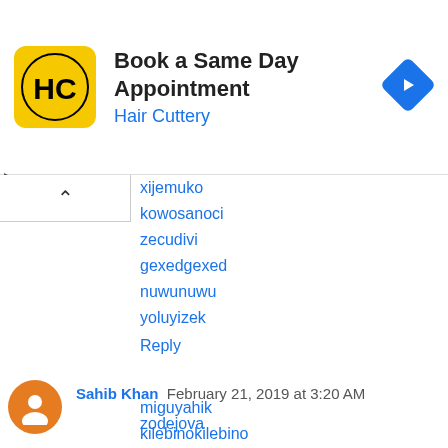[Figure (screenshot): Hair Cuttery ad banner: yellow square logo with HC letters, title 'Book a Same Day Appointment', subtitle 'Hair Cuttery', blue diamond arrow icon on right]
xijemuko
kowosanoci
zecudivi
gexedgexed
nuwunuwu
yoluyizek
Reply
Sahib Khan  February 21, 2019 at 3:20 AM
zodejova
miguyahik
kilebinokilebino
gugehi
waxu
halogoli